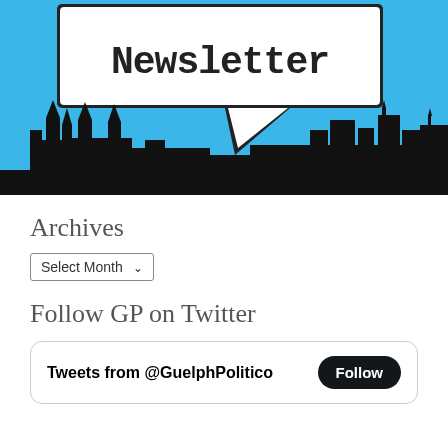[Figure (illustration): Newsletter banner with city skyline silhouette on blue background and speech bubble containing the word 'Newsletter' in typewriter font]
Archives
Select Month
Follow GP on Twitter
Tweets from @GuelphPolitico  Follow